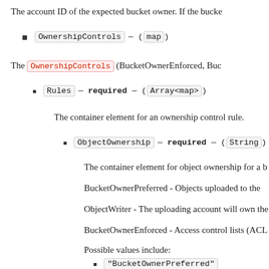The account ID of the expected bucket owner. If the bucke
OwnershipControls — (map)
The OwnershipControls (BucketOwnerEnforced, Buc
Rules — required — (Array<map>)
The container element for an ownership control rule.
ObjectOwnership — required — (String)
The container element for object ownership for a b
BucketOwnerPreferred - Objects uploaded to the
ObjectWriter - The uploading account will own the
BucketOwnerEnforced - Access control lists (ACL
Possible values include:
"BucketOwnerPreferred"